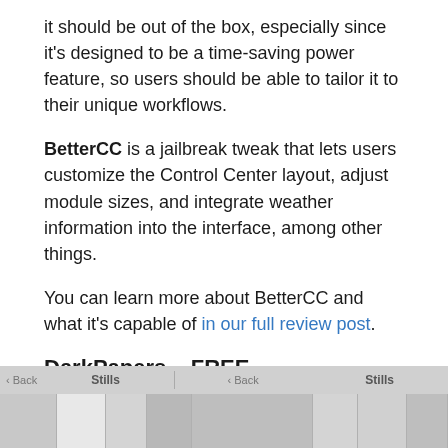it should be out of the box, especially since it’s designed to be a time-saving power feature, so users should be able to tailor it to their unique workflows.
BetterCC is a jailbreak tweak that lets users customize the Control Center layout, adjust module sizes, and integrate weather information into the interface, among other things.
You can learn more about BetterCC and what it’s capable of in our full review post.
DarkPapers – FREE
[Figure (screenshot): Screenshot strip showing a mobile UI with Still label tabs and thumbnail image previews on a gray background]